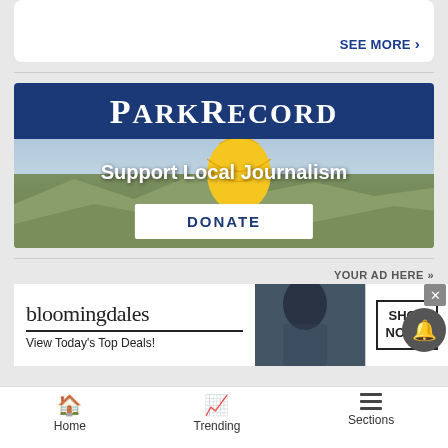SEE MORE ›
[Figure (screenshot): Park Record newspaper banner with 'Support Local Journalism' and DONATE button over hot air balloon mountain landscape photo]
YOUR AD HERE »
[Figure (screenshot): Bloomingdale's advertisement: 'bloomingdales View Today's Top Deals!' with woman in hat and 'SHOP NOW >' button]
Home   Trending   Sections